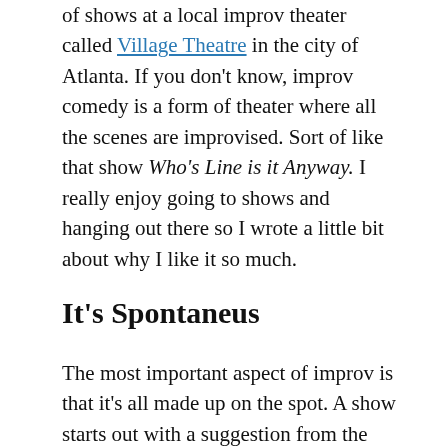of shows at a local improv theater called Village Theatre in the city of Atlanta. If you don't know, improv comedy is a form of theater where all the scenes are improvised. Sort of like that show Who's Line is it Anyway. I really enjoy going to shows and hanging out there so I wrote a little bit about why I like it so much.
It's Spontaneus
The most important aspect of improv is that it's all made up on the spot. A show starts out with a suggestion from the audience, usually a word or phrase from a question from the improvisers. The suggestion serves as a kind of